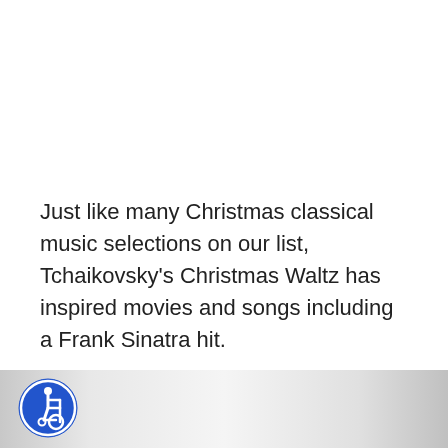Just like many Christmas classical music selections on our list, Tchaikovsky's Christmas Waltz has inspired movies and songs including a Frank Sinatra hit.
9. Vivaldi – Winter
[Figure (photo): Bottom portion of page showing a grey-toned image with an accessibility (wheelchair) icon in the bottom-left corner]